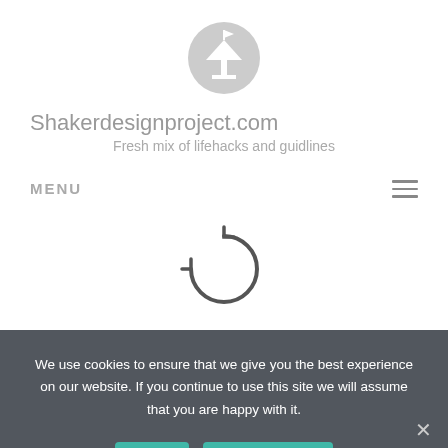[Figure (logo): Circular logo with martini glass silhouette in gray]
Shakerdesignproject.com
Fresh mix of lifehacks and guidlines
MENU
[Figure (illustration): Circular refresh/sync arrows icon in dark gray]
We use cookies to ensure that we give you the best experience on our website. If you continue to use this site we will assume that you are happy with it.
How can I watch live basketball on my
Ok
Privacy policy